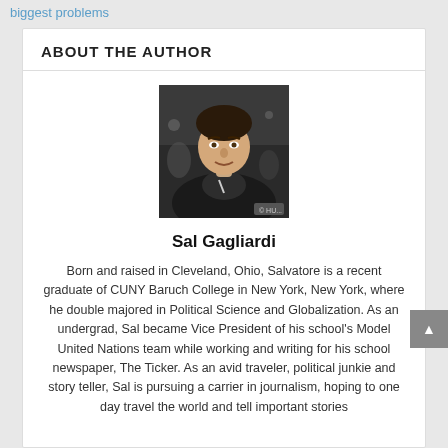biggest problems
ABOUT THE AUTHOR
[Figure (photo): Portrait photo of Sal Gagliardi, a young man in a dark jacket, taken at an event]
Sal Gagliardi
Born and raised in Cleveland, Ohio, Salvatore is a recent graduate of CUNY Baruch College in New York, New York, where he double majored in Political Science and Globalization. As an undergrad, Sal became Vice President of his school's Model United Nations team while working and writing for his school newspaper, The Ticker. As an avid traveler, political junkie and story teller, Sal is pursuing a carrier in journalism, hoping to one day travel the world and tell important stories